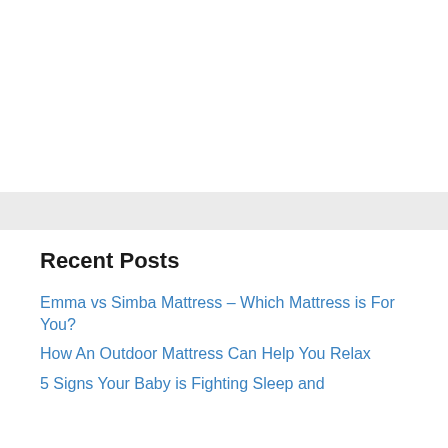Recent Posts
Emma vs Simba Mattress – Which Mattress is For You?
How An Outdoor Mattress Can Help You Relax
5 Signs Your Baby is Fighting Sleep and